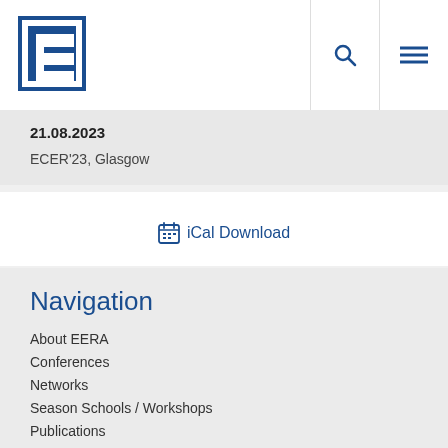[Figure (logo): EERA logo - blue stylized 'e' letter in a square frame]
21.08.2023
ECER'23, Glasgow
iCal Download
Navigation
About EERA
Conferences
Networks
Season Schools / Workshops
Publications
Abstracts